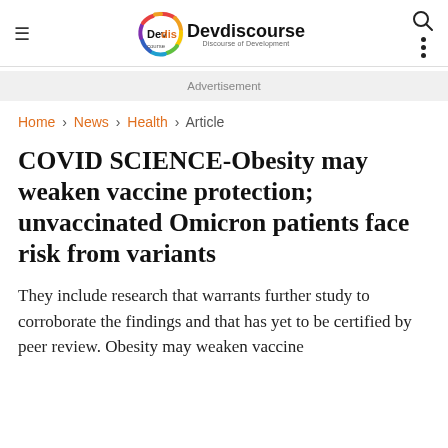Devdiscourse — Discourse of Development
Advertisement
Home › News › Health › Article
COVID SCIENCE-Obesity may weaken vaccine protection; unvaccinated Omicron patients face risk from variants
They include research that warrants further study to corroborate the findings and that has yet to be certified by peer review. Obesity may weaken vaccine